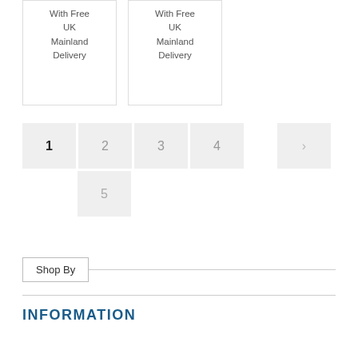With Free UK Mainland Delivery
With Free UK Mainland Delivery
1 2 3 4 > 5
Shop By
INFORMATION